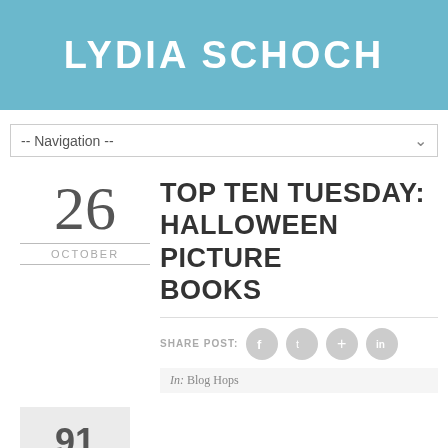LYDIA SCHOCH
-- Navigation --
TOP TEN TUESDAY: HALLOWEEN PICTURE BOOKS
26
OCTOBER
SHARE POST:
In: Blog Hops
91